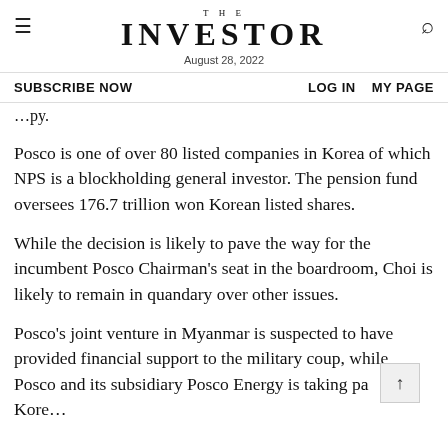THE INVESTOR — August 28, 2022
SUBSCRIBE NOW   LOG IN   MY PAGE
Posco is one of over 80 listed companies in Korea of which NPS is a blockholding general investor. The pension fund oversees 176.7 trillion won Korean listed shares.
While the decision is likely to pave the way for the incumbent Posco Chairman's seat in the boardroom, Choi is likely to remain in quandary over other issues.
Posco's joint venture in Myanmar is suspected to have provided financial support to the military coup, while Posco and its subsidiary Posco Energy is taking pa... Koreanfinanced financial terminology in Seoul...